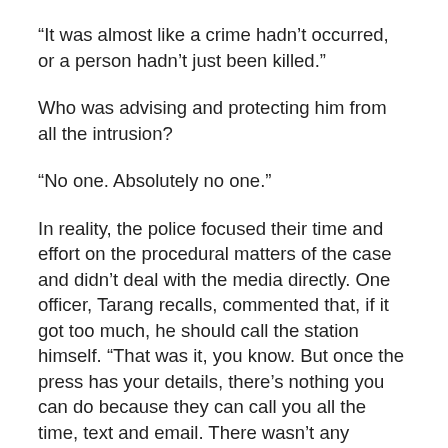“It was almost like a crime hadn’t occurred, or a person hadn’t just been killed.”
Who was advising and protecting him from all the intrusion?
“No one. Absolutely no one.”
In reality, the police focused their time and effort on the procedural matters of the case and didn’t deal with the media directly. One officer, Tarang recalls, commented that, if it got too much, he should call the station himself. “That was it, you know. But once the press has your details, there’s nothing you can do because they can call you all the time, text and email. There wasn’t any recourse at the time.”
The reporters maybe didn’t realise that it